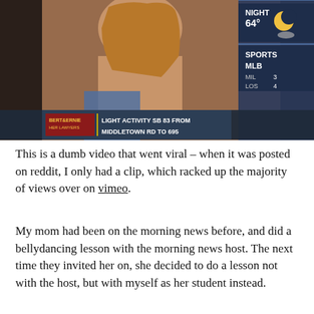[Figure (screenshot): TV news broadcast screenshot showing a woman with long hair in the foreground, with a news ticker at the bottom reading 'LIGHT ACTIVITY SB 83 FROM MIDDLETOWN RD TO 695', and weather/sports sidebar on the right showing NIGHT 64° with moon icon, SPORTS MLB MIL 3 LOS 4]
This is a dumb video that went viral – when it was posted on reddit, I only had a clip, which racked up the majority of views over on vimeo.
My mom had been on the morning news before, and did a bellydancing lesson with the morning news host. The next time they invited her on, she decided to do a lesson not with the host, but with myself as her student instead.
I have never bellydanced before.
As you can see in the following clip, at no point does a "lesson" begin. She showed me a move with the sword